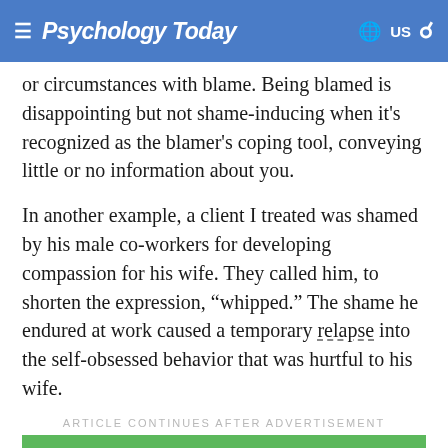Psychology Today  US
or circumstances with blame. Being blamed is disappointing but not shame-inducing when it's recognized as the blamer's coping tool, conveying little or no information about you.
In another example, a client I treated was shamed by his male co-workers for developing compassion for his wife. They called him, to shorten the expression, “whipped.” The shame he endured at work caused a temporary relapse into the self-obsessed behavior that was hurtful to his wife.
ARTICLE CONTINUES AFTER ADVERTISEMENT